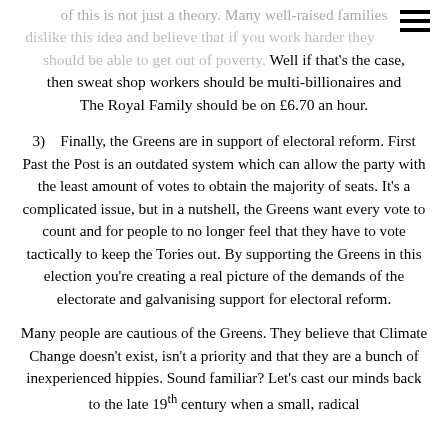of this is not just a theory. Many well-raised families dislike this idea and believe that if you work harder they should be able to get out of poverty. Well if that's the case, then sweat shop workers should be multi-billionaires and The Royal Family should be on £6.70 an hour.
3)    Finally, the Greens are in support of electoral reform. First Past the Post is an outdated system which can allow the party with the least amount of votes to obtain the majority of seats. It's a complicated issue, but in a nutshell, the Greens want every vote to count and for people to no longer feel that they have to vote tactically to keep the Tories out. By supporting the Greens in this election you're creating a real picture of the demands of the electorate and galvanising support for electoral reform.
Many people are cautious of the Greens. They believe that Climate Change doesn't exist, isn't a priority and that they are a bunch of inexperienced hippies. Sound familiar? Let's cast our minds back to the late 19th century when a small, radical